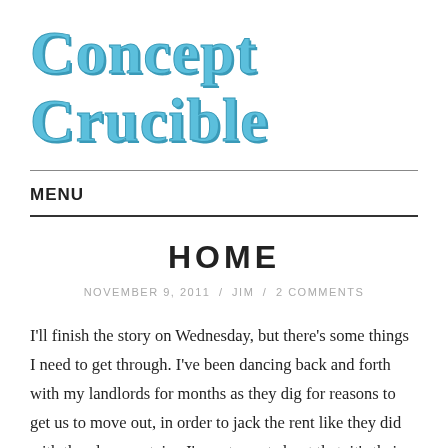Concept Crucible
MENU
HOME
NOVEMBER 9, 2011 / JIM / 2 COMMENTS
I'll finish the story on Wednesday, but there's some things I need to get through. I've been dancing back and forth with my landlords for months as they dig for reasons to get us to move out, in order to jack the rent like they did with the place upstairs. I'm not upset about that, it's their job to push up their bottom line, and their methods are consistent with those of